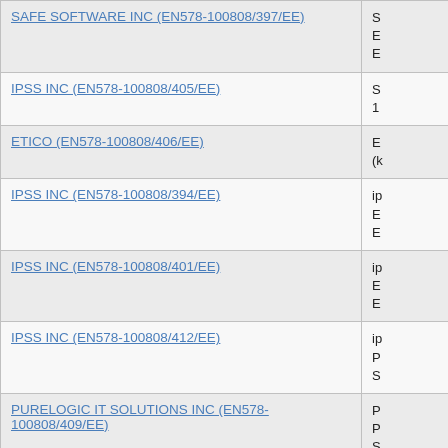| Supplier/Contract | Details |
| --- | --- |
| SAFE SOFTWARE INC (EN578-100808/397/EE) | E
E |
| IPSS INC (EN578-100808/405/EE) | S
1 |
| ETICO (EN578-100808/406/EE) | E
(k |
| IPSS INC (EN578-100808/394/EE) | ip
E
E |
| IPSS INC (EN578-100808/401/EE) | ip
E
E |
| IPSS INC (EN578-100808/412/EE) | ip
P
S |
| PURELOGIC IT SOLUTIONS INC (EN578-100808/409/EE) | P
P
S |
| PURELOGIC IT SOLUTIONS INC (EN578-100808/410/EE) | P |